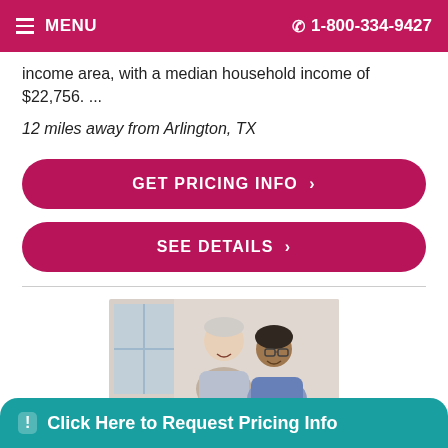MENU  1-800-334-9427
...the facility is in a predominantly low income area, with a median household income of $22,756. ...
12 miles away from Arlington, TX
GET PRICING INFO >
SEE DETAILS >
[Figure (photo): Photo of an elderly person and a caregiver smiling together indoors]
Click Here to Request Pricing Info